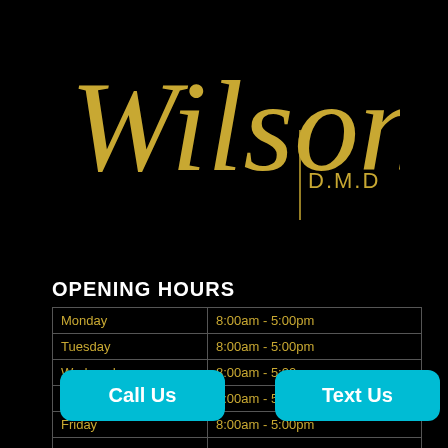[Figure (logo): Wilson D.M.D cursive gold script logo with vertical gold line separator on black background]
OPENING HOURS
| Day | Hours |
| --- | --- |
| Monday | 8:00am - 5:00pm |
| Tuesday | 8:00am - 5:00pm |
| Wednesday | 8:00am - 5:00pm |
| Thursday | 8:00am - 5:00p[m] |
| Friday | 8:00am - 5:00pm |
| [Saturday] | [hours] |
Call Us
Text Us